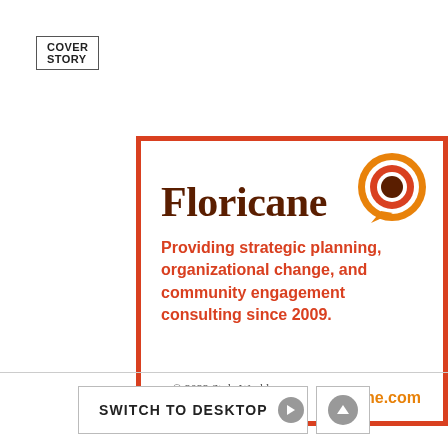COVER STORY
[Figure (logo): Floricane advertisement with logo and tagline. Red border box containing 'Floricane' in dark brown serif font, a circular concentric rings logo icon in top right (brown, red, orange), orange tagline text 'Providing strategic planning, organizational change, and community engagement consulting since 2009.' and orange website URL 'floricane.com']
© 2022 Style Weekly
SWITCH TO DESKTOP